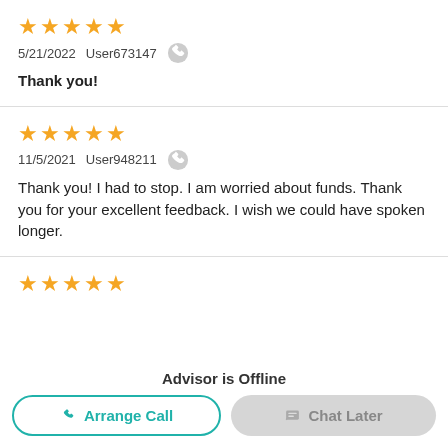★★★★★
5/21/2022   User673147
Thank you!
★★★★★
11/5/2021   User948211
Thank you! I had to stop. I am worried about funds. Thank you for your excellent feedback. I wish we could have spoken longer.
★★★★★
Advisor is Offline
Arrange Call
Chat Later